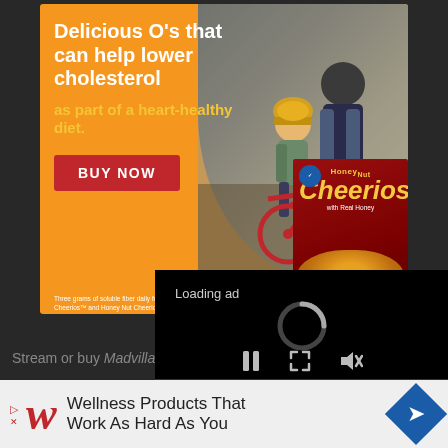[Figure (photo): Honey Nut Cheerios advertisement banner with orange background. White bold text reads 'Delicious O's that can help lower cholesterol' with yellow text 'as part of a heart-healthy diet.' A red 'BUY NOW' button is shown. Background photo of adult helping child ride a red bicycle. Cheerios cereal box shown bottom right.]
Three grams of soluble fiber daily from whole grain oat foods, like Cheerios™ and Honey Nut Cheerios™ cereal, in a diet low in saturated fat and cholesterol, may reduce the risk of heart d... Cheerios cereal provides .75 g... Original Cheerios cereal prov...
[Figure (screenshot): Black video player overlay with 'Loading ad' text, a loading spinner graphic, and video control icons: pause button, fullscreen expand, and mute/volume icon.]
Stream or buy Madvilla
Connect with Abstract Orchestra: Facebook | Twitter |
[Figure (photo): Walgreens advertisement banner at bottom. Shows Walgreens cursive W logo, text 'Wellness Products That Work As Hard As You', and a blue diamond-shaped arrow icon.]